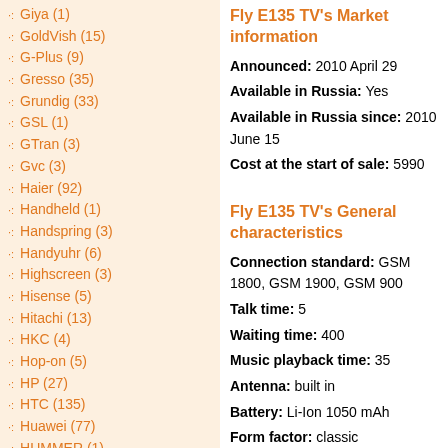Giya (1)
GoldVish (15)
G-Plus (9)
Gresso (35)
Grundig (33)
GSL (1)
GTran (3)
Gvc (3)
Haier (92)
Handheld (1)
Handspring (3)
Handyuhr (6)
Highscreen (3)
Hisense (5)
Hitachi (13)
HKC (4)
Hop-on (5)
HP (27)
HTC (135)
Huawei (77)
HUMMER (1)
Hutel (3)
Hyundai (35)
iDo (1)
iKoMo (1)
i-mate (35)
i-mobile (112)
IMT (1)
Fly E135 TV's Market information
Announced: 2010 April 29
Available in Russia: Yes
Available in Russia since: 2010 June 15
Cost at the start of sale: 5990
Fly E135 TV's General characteristics
Connection standard: GSM 1800, GSM 1900, GSM 900
Talk time: 5
Waiting time: 400
Music playback time: 35
Antenna: built in
Battery: Li-Ion 1050 mAh
Form factor: classic
Colors: Black